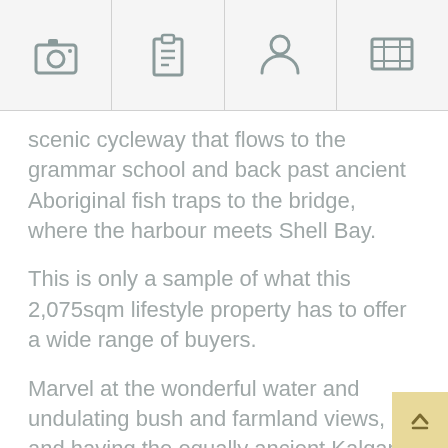[Figure (other): Navigation bar with four icons: camera, clipboard/list, person/profile, and map]
scenic cycleway that flows to the grammar school and back past ancient Aboriginal fish traps to the bridge, where the harbour meets Shell Bay.
This is only a sample of what this 2,075sqm lifestyle property has to offer a wide range of buyers.
Marvel at the wonderful water and undulating bush and farmland views, and having the equally ancient Kalgan River and spectacular beaches close by.
It is only a 14-kilometre drive into downtown Albany, with lots of shops, schools and medical amenities within that radius.
This property also enjoys an imposing position in a no